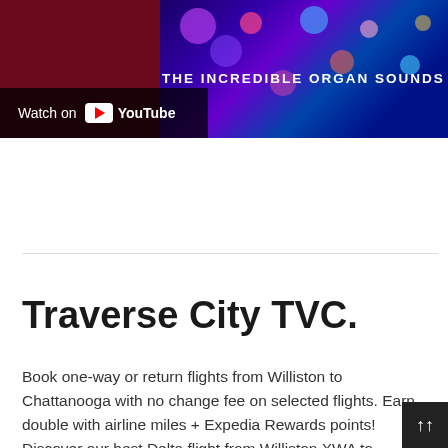[Figure (screenshot): YouTube video thumbnail showing 'THE INCREDIBLE ORGAN SOUNDS' with a 'Watch on YouTube' overlay button. Left side has dark maroon background, right side has colorful bokeh lights on dark purple/blue background.]
Traverse City TVC.
Book one-way or return flights from Williston to Chattanooga with no change fee on selected flights. Earn double with airline miles + Expedia Rewards points! Discover our best Delta flight from Williston XWA to Chattanooga CHA To find the best deals on flights to Williston from Chattanooga with Delta, just enter yo